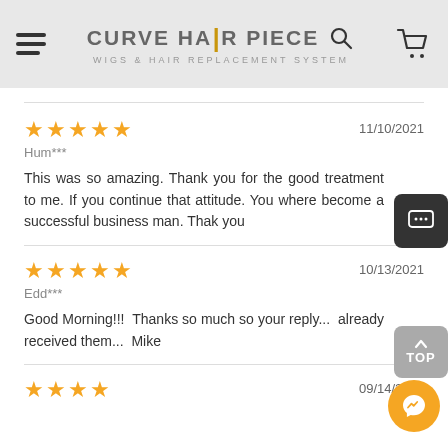[Figure (logo): Curve Hair Piece logo with hamburger menu, search icon, and cart icon on grey header bar]
Hum*** — 11/10/2021 — 5 stars — This was so amazing, Thank you for the good treatment to me, If you continue that attitude, You where become a successful business man, Thak you
Edd*** — 10/13/2021 — 5 stars — Good Morning!!!  Thanks so much so your reply...  already received them...  Mike
09/14/2021 — 4 stars